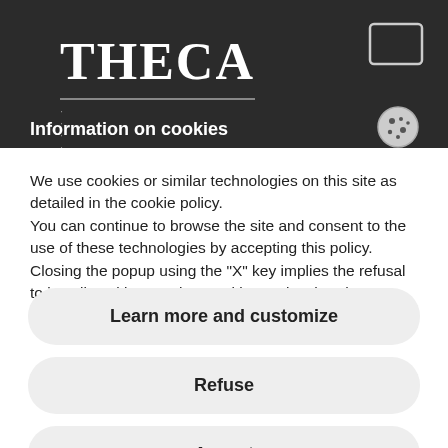THECA
Information on cookies
We use cookies or similar technologies on this site as detailed in the cookie policy.
You can continue to browse the site and consent to the use of these technologies by accepting this policy. Closing the popup using the "X" key implies the refusal to install cookies or other tracking tools other than technical ones.
Learn more and customize
Refuse
Accept